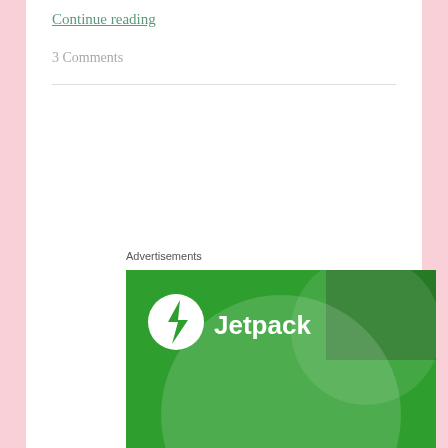Continue reading
3 Comments
[Figure (illustration): Jetpack advertisement banner with green background, white Jetpack logo and text, and large semi-transparent circle design element]